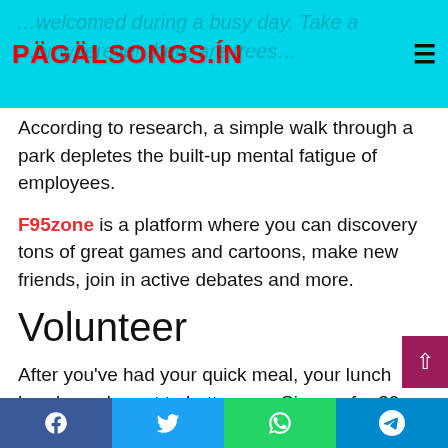PÄGÄLSONGS.ÍN
According to research, a simple walk through a park depletes the built-up mental fatigue of employees.
F95zone is a platform where you can discovery tons of great games and cartoons, make new friends, join in active debates and more.
Volunteer
After you've had your quick meal, your lunch break can be put to better use. Sign up for 30 minutes of volunteer service in a nearby community center in the vicinity. It could be teaching basic language skills to the homeless or distributing food to them. Again, it's the small things that matter.